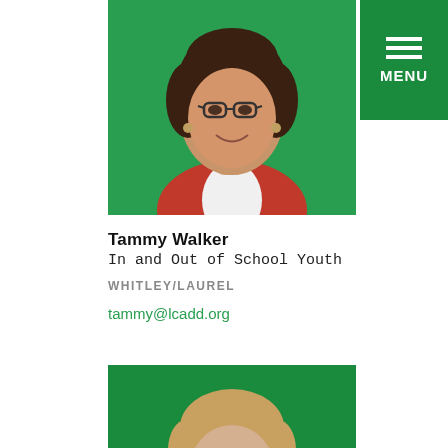[Figure (photo): Portrait photo of Tammy Walker, a woman with dark curly hair and glasses, wearing a red blazer over a white shirt, on a green background]
Tammy Walker
In and Out of School Youth
WHITLEY/LAUREL
tammy@lcadd.org
[Figure (photo): Portrait photo of an older woman with short light brown hair, wearing a teal/turquoise scarf and dark top, smiling, on a green background]